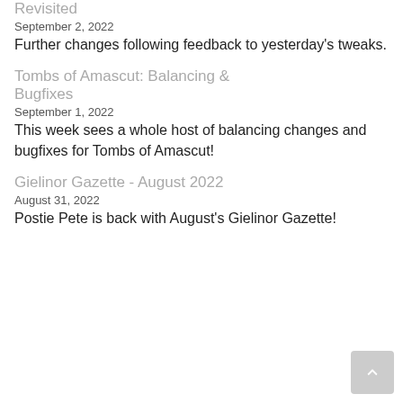Revisited
September 2, 2022
Further changes following feedback to yesterday's tweaks.
Tombs of Amascut: Balancing & Bugfixes
September 1, 2022
This week sees a whole host of balancing changes and bugfixes for Tombs of Amascut!
Gielinor Gazette - August 2022
August 31, 2022
Postie Pete is back with August's Gielinor Gazette!